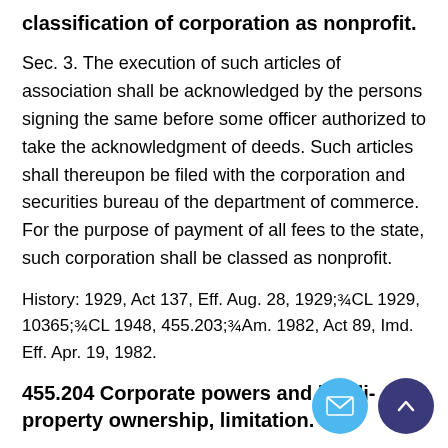classification of corporation as nonprofit.
Sec. 3. The execution of such articles of association shall be acknowledged by the persons signing the same before some officer authorized to take the acknowledgment of deeds. Such articles shall thereupon be filed with the corporation and securities bureau of the department of commerce. For the purpose of payment of all fees to the state, such corporation shall be classed as nonprofit.
History: 1929, Act 137, Eff. Aug. 28, 1929;¾CL 1929, 10365;¾CL 1948, 455.203;¾Am. 1982, Act 89, Imd. Eff. Apr. 19, 1982.
455.204 Corporate powers and liabili property ownership, limitation.